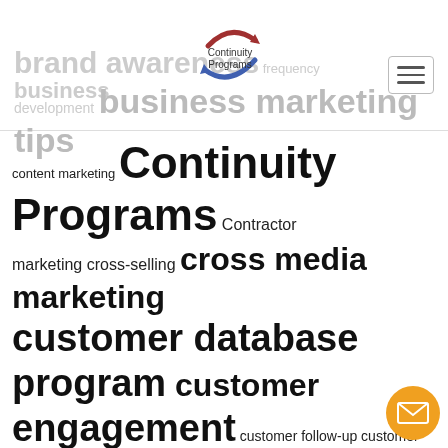Tags
[Figure (logo): Continuity Programs circular arrow logo with blue and red arrows]
brand awareness frequency business development business marketing tips
content marketing Continuity Programs Contractor marketing cross-selling cross media marketing customer database program customer engagement customer follow-up customer loyalty Customer loyalty programs customer prospecting customer retention customer satisfaction customer satisfaction surveys customer tracking database direct mail ecard marketing e-campaign email marketing lead generation